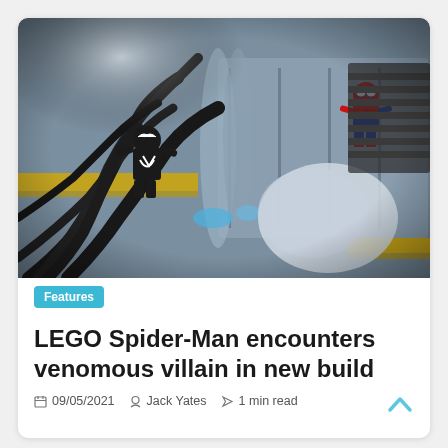[Figure (photo): Close-up photo of a LEGO Venom minifigure with black tentacle/cable pieces in the foreground, and a LEGO Spider-Man minifigure in red and blue on a grey wall in the background. The scene resembles a space or sci-fi environment with yellow and silver elements.]
Features
LEGO Spider-Man encounters venomous villain in new build
09/05/2021   Jack Yates   1 min read